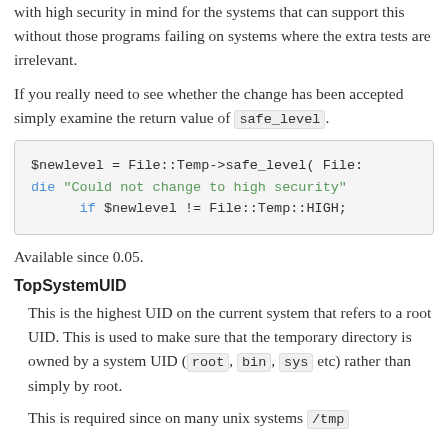with high security in mind for the systems that can support this without those programs failing on systems where the extra tests are irrelevant.
If you really need to see whether the change has been accepted simply examine the return value of safe_level.
$newlevel = File::Temp->safe_level( File::
die "Could not change to high security"
        if $newlevel != File::Temp::HIGH;
Available since 0.05.
TopSystemUID
This is the highest UID on the current system that refers to a root UID. This is used to make sure that the temporary directory is owned by a system UID ( root, bin, sys etc) rather than simply by root.
This is required since on many unix systems /tmp